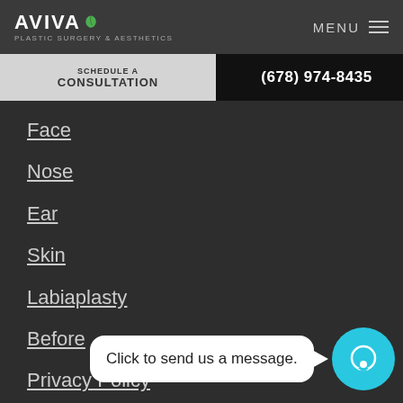[Figure (logo): Aviva Plastic Surgery & Aesthetics logo with green leaf icon]
SCHEDULE A CONSULTATION
(678) 974-8435
Face
Nose
Ear
Skin
Labiaplasty
Before
Privacy Policy
Click to send us a message.